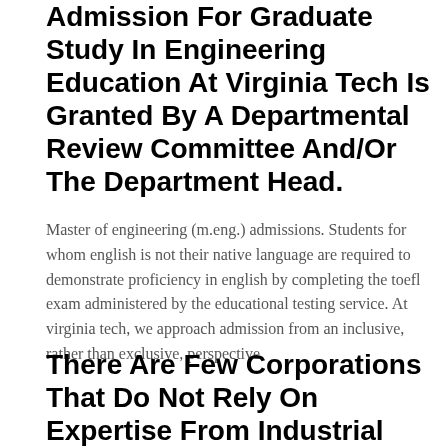Admission For Graduate Study In Engineering Education At Virginia Tech Is Granted By A Departmental Review Committee And/Or The Department Head.
Master of engineering (m.eng.) admissions. Students for whom english is not their native language are required to demonstrate proficiency in english by completing the toefl exam administered by the educational testing service. At virginia tech, we approach admission from an inclusive, rather than exclusive, perspective.
There Are Few Corporations That Do Not Rely On Expertise From Industrial Designers To Help Estabish Their Identity, Initiate A